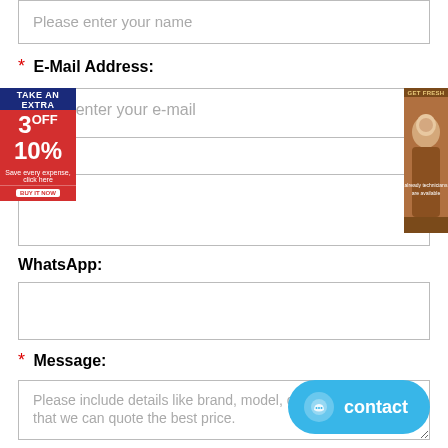[Figure (screenshot): Text input field with placeholder 'Please enter your name']
* E-Mail Address:
[Figure (screenshot): Text input field with placeholder 'Please enter your e-mail']
[Figure (infographic): Left ad overlay: TAKE AN EXTRA 3OFF 10% promotional banner in red and blue]
[Figure (photo): Right ad overlay: brown-toned advertisement with person image]
Country:
[Figure (screenshot): Empty text input field for Country]
WhatsApp:
[Figure (screenshot): Empty text input field for WhatsApp]
* Message:
[Figure (screenshot): Large textarea with placeholder text 'Please include details like brand, model, quantity and etc., so that we can quote the best price.']
[Figure (screenshot): Blue 'contact' button with chat icon in bottom right]